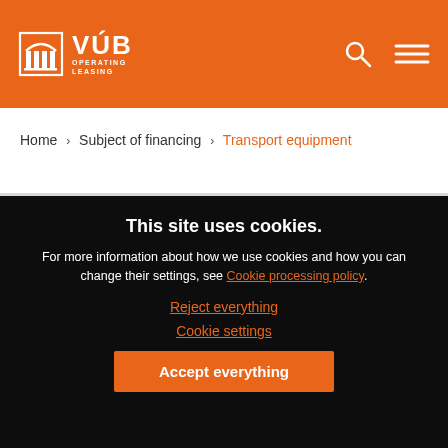VÚB Operating Leasing
Home › Subject of financing › Transport equipment
This site uses cookies.
For more information about how we use cookies and how you can change their settings, see Cookie processing policy.
Reject everything
Cookie settings
Accept everything